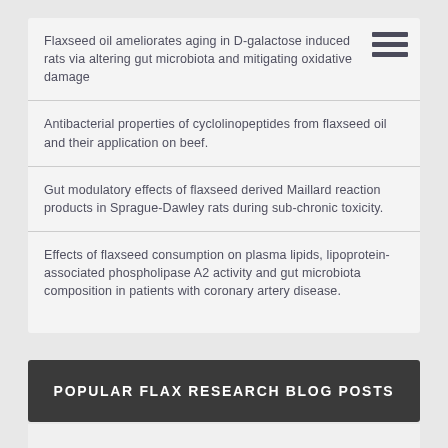Flaxseed oil ameliorates aging in D-galactose induced rats via altering gut microbiota and mitigating oxidative damage
Antibacterial properties of cyclolinopeptides from flaxseed oil and their application on beef.
Gut modulatory effects of flaxseed derived Maillard reaction products in Sprague-Dawley rats during sub-chronic toxicity.
Effects of flaxseed consumption on plasma lipids, lipoprotein-associated phospholipase A2 activity and gut microbiota composition in patients with coronary artery disease.
POPULAR FLAX RESEARCH BLOG POSTS